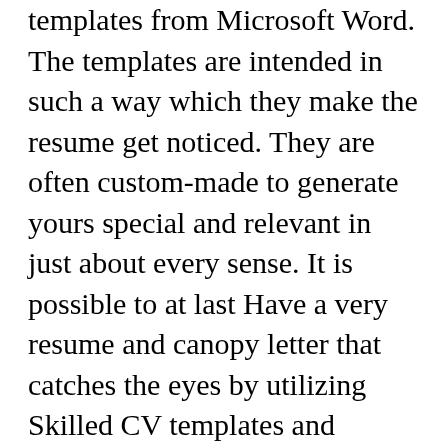templates from Microsoft Word. The templates are intended in such a way which they make the resume get noticed. They are often custom-made to generate yours special and relevant in just about every sense. It is possible to at last Have a very resume and canopy letter that catches the eyes by utilizing Skilled CV templates and canopy letter templates.
The Carátulas para trabajos Template Rewards
In addition to providing you with an uncomplicated time obtaining your resume is is theasy to templates for please and